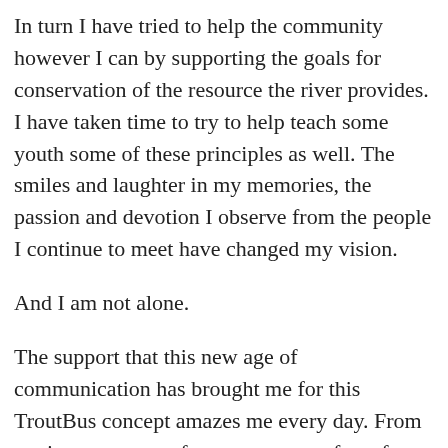In turn I have tried to help the community however I can by supporting the goals for conservation of the resource the river provides. I have taken time to try to help teach some youth some of these principles as well. The smiles and laughter in my memories, the passion and devotion I observe from the people I continue to meet have changed my vision.
And I am not alone.
The support that this new age of communication has brought me for this TroutBus concept amazes me every day. From getting messages of encouragement from far off places, to people finding me on the street somewhere and telling me, “You’re doing a great job – keep it up.” Or even to those same people writing